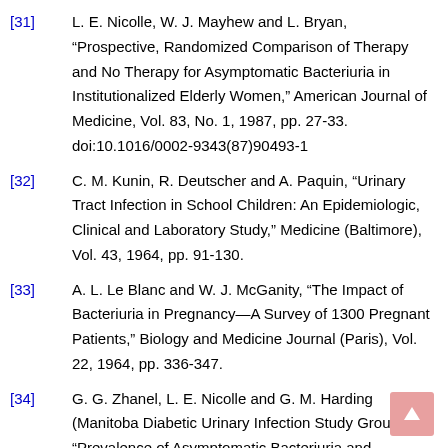[31] L. E. Nicolle, W. J. Mayhew and L. Bryan, “Prospective, Randomized Comparison of Therapy and No Therapy for Asymptomatic Bacteriuria in Institutionalized Elderly Women,” American Journal of Medicine, Vol. 83, No. 1, 1987, pp. 27-33. doi:10.1016/0002-9343(87)90493-1
[32] C. M. Kunin, R. Deutscher and A. Paquin, “Urinary Tract Infection in School Children: An Epidemiologic, Clinical and Laboratory Study,” Medicine (Baltimore), Vol. 43, 1964, pp. 91-130.
[33] A. L. Le Blanc and W. J. McGanity, “The Impact of Bacteriuria in Pregnancy—A Survey of 1300 Pregnant Patients,” Biology and Medicine Journal (Paris), Vol. 22, 1964, pp. 336-347.
[34] G. G. Zhanel, L. E. Nicolle and G. M. Harding (Manitoba Diabetic Urinary Infection Study Group), “Prevalence of Asymptomatic Bacteriuria and Associated Host Factors in